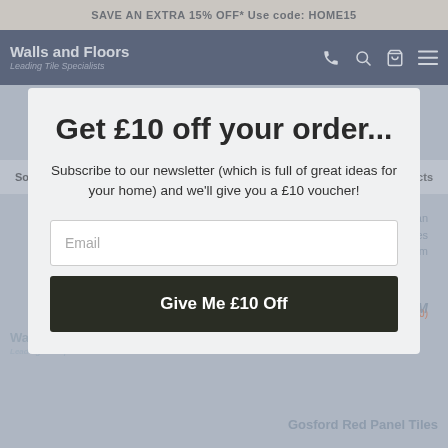SAVE AN EXTRA 15% OFF* Use code: HOME15
[Figure (screenshot): Walls and Floors website navigation bar with logo, phone, search, cart, and menu icons on dark navy background]
Get £10 off your order...
Subscribe to our newsletter (which is full of great ideas for your home) and we'll give you a £10 voucher!
Email
Give Me £10 Off
Sort by: Popularity   Filter Products
Capsule™ Victorian Green Tiles
150x150x8mm
£29.95 / SQM
Gosford Red Panel Tiles